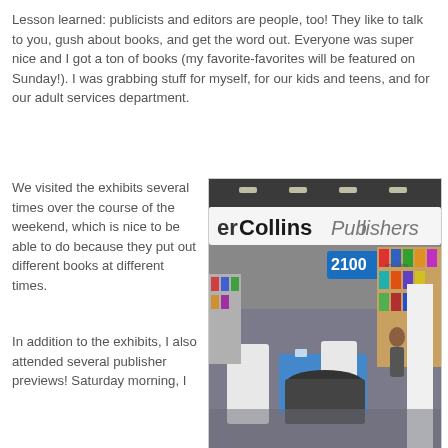Lesson learned: publicists and editors are people, too!  They like to talk to you, gush about books, and get the word out.  Everyone was super nice and I got a ton of books (my favorite-favorites will be featured on Sunday!).  I was grabbing stuff for myself, for our kids and teens, and for our adult services department.
We visited the exhibits several times over the course of the weekend, which is nice to be able to do because they put out different books at different times.
[Figure (photo): Interior of a convention exhibit hall showing the HarperCollins Publishers booth (#2100) with book displays and tables covered in blue cloth.]
In addition to the exhibits, I also attended several publisher previews!  Saturday morning, I